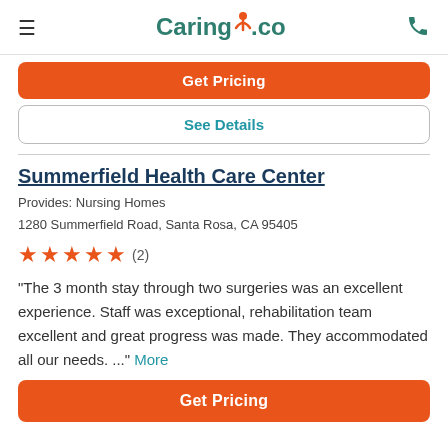Caring.com
Get Pricing
See Details
Summerfield Health Care Center
Provides: Nursing Homes
1280 Summerfield Road, Santa Rosa, CA 95405
★★★★★ (2)
"The 3 month stay through two surgeries was an excellent experience. Staff was exceptional, rehabilitation team excellent and great progress was made. They accommodated all our needs. ..." More
Get Pricing